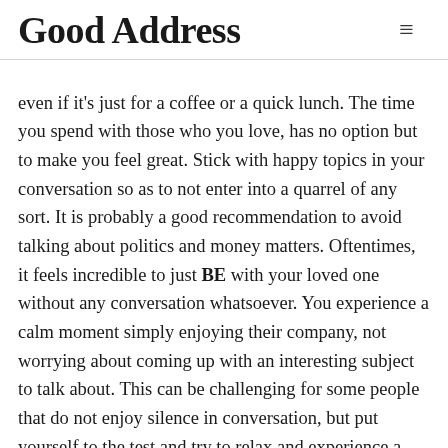Good Address
even if it's just for a coffee or a quick lunch. The time you spend with those who you love, has no option but to make you feel great. Stick with happy topics in your conversation so as to not enter into a quarrel of any sort. It is probably a good recommendation to avoid talking about politics and money matters. Oftentimes, it feels incredible to just BE with your loved one without any conversation whatsoever. You experience a calm moment simply enjoying their company, not worrying about coming up with an interesting subject to talk about. This can be challenging for some people that do not enjoy silence in conversation, but put yourself to the test and try to relax and experience a wonderful